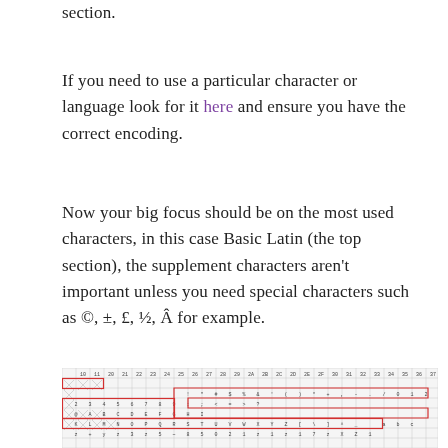section.
If you need to use a particular character or language look for it here and ensure you have the correct encoding.
Now your big focus should be on the most used characters, in this case Basic Latin (the top section), the supplement characters aren't important unless you need special characters such as ©, ±, £, ½, Â for example.
[Figure (screenshot): A character map or Unicode table screenshot showing a grid of characters with red outline boxes highlighting certain sections of the Basic Latin character set.]